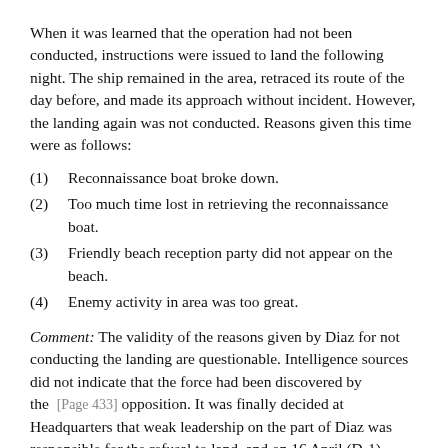When it was learned that the operation had not been conducted, instructions were issued to land the following night. The ship remained in the area, retraced its route of the day before, and made its approach without incident. However, the landing again was not conducted. Reasons given this time were as follows:
(1)  Reconnaissance boat broke down.
(2)  Too much time lost in retrieving the reconnaissance boat.
(3)  Friendly beach reception party did not appear on the beach.
(4)  Enemy activity in area was too great.
Comment: The validity of the reasons given by Diaz for not conducting the landing are questionable. Intelligence sources did not indicate that the force had been discovered by the [Page 433] opposition. It was finally decided at Headquarters that weak leadership on the part of Diaz was responsible for the refusal to land, and on 16 April (D-1) orders were given to this force to proceed to the Zapata area and join the main force. The Diaz group did not arrive at Zapata in time to participate in the main